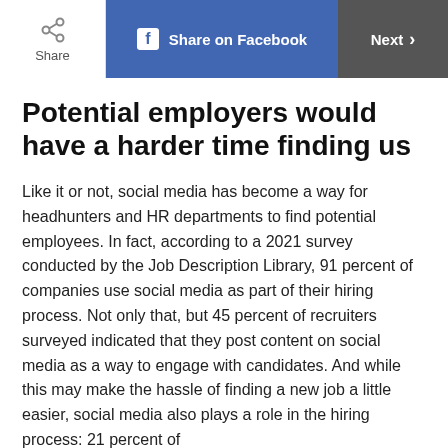Share | Share on Facebook | Next
Potential employers would have a harder time finding us
Like it or not, social media has become a way for headhunters and HR departments to find potential employees. In fact, according to a 2021 survey conducted by the Job Description Library, 91 percent of companies use social media as part of their hiring process. Not only that, but 45 percent of recruiters surveyed indicated that they post content on social media as a way to engage with candidates. And while this may make the hassle of finding a new job a little easier, social media also plays a role in the hiring process: 21 percent of